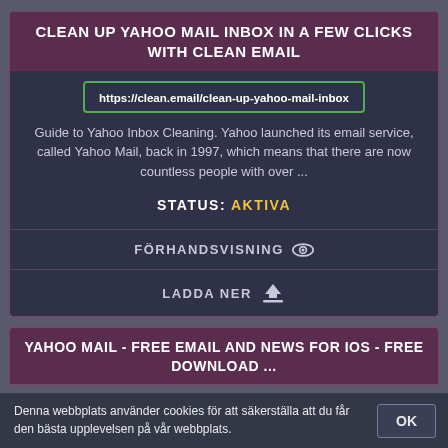CLEAN UP YAHOO MAIL INBOX IN A FEW CLICKS WITH CLEAN EMAIL
https://clean.email/clean-up-yahoo-mail-inbox
Guide to Yahoo Inbox Cleaning. Yahoo launched its email service, called Yahoo Mail, back in 1997, which means that there are now countless people with over ...
STATUS: AKTIVA
FÖRHANDSVISNING
LADDA NER
YAHOO MAIL - FREE EMAIL AND NEWS FOR IOS - FREE DOWNLOAD ...
Denna webbplats använder cookies för att säkerställa att du får den bästa upplevelsen på vår webbplats.